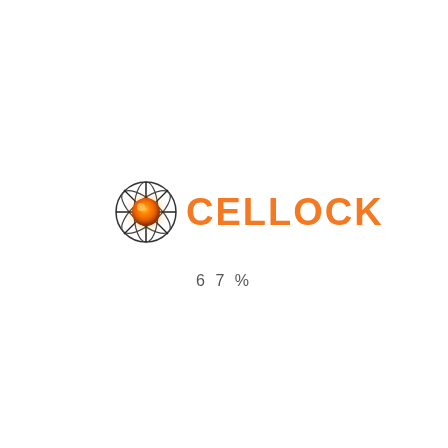[Figure (logo): CELLOCK logo consisting of a spherical drone-like mechanical orb with orange glowing center on the left, and the text CELLOCK in bold orange capital letters on the right]
67%